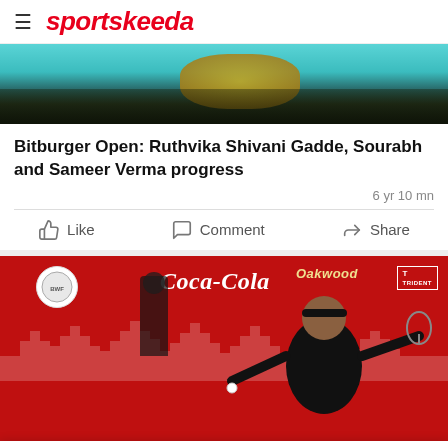≡  sportskeeda
[Figure (photo): Cropped top portion of a badminton player in a teal/cyan court background, wearing a yellow-green outfit]
Bitburger Open: Ruthvika Shivani Gadde, Sourabh and Sameer Verma progress
6 yr 10 mn
Like   Comment   Share
[Figure (photo): Badminton player in black outfit reaching for a shuttlecock on a red court background with Coca-Cola, Oakwood, and Trident sponsor logos. A line judge in hijab sits on a chair in the background.]
[Figure (other): Advertisement banner: travel.state.gov — Renew your Passport — Open button]